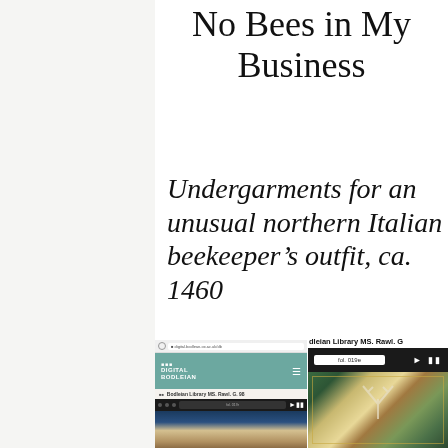No Bees in My Business
Undergarments for an unusual northern Italian beekeeper’s outfit, ca. 1460
[Figure (screenshot): Screenshot of Digital Bodleian website showing Bodleian Library MS. Rawl. G. 98 manuscript viewer with medieval manuscript image]
[Figure (screenshot): Screenshot of Bodleian Library MS. Rawl. G manuscript viewer showing fol. 019e with medieval tapestry or manuscript illumination]